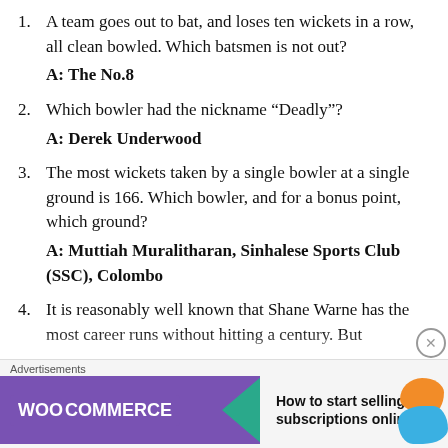A team goes out to bat, and loses ten wickets in a row, all clean bowled. Which batsmen is not out? A: The No.8
Which bowler had the nickname “Deadly”? A: Derek Underwood
The most wickets taken by a single bowler at a single ground is 166. Which bowler, and for a bonus point, which ground? A: Muttiah Muralitharan, Sinhalese Sports Club (SSC), Colombo
It is reasonably well known that Shane Warne has the most career runs without hitting a century. But
[Figure (screenshot): WooCommerce advertisement banner: 'How to start selling subscriptions online']
Advertisements